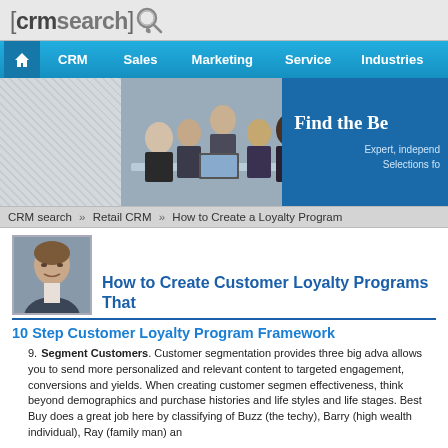[Figure (logo): CRM Search website logo with text '[crmsearch]' and a search/speech bubble icon]
CRM  Sales  Marketing  Service  Industries
[Figure (photo): Hero banner with group of business professionals seated at a table in meeting, plus blue panel with text 'Find the Be... Expert, indepen... Selections fo...']
CRM search » Retail CRM » How to Create a Loyalty Program
[Figure (photo): Author headshot photo of a man in a suit]
How to Create Customer Loyalty Programs That
10 Step Customer Loyalty Program Framework
9. Segment Customers. Customer segmentation provides three big adva... allows you to send more personalized and relevant content to targeted... engagement, conversions and yields. When creating customer segmen... effectiveness, think beyond demographics and purchase histories and... life styles and life stages. Best Buy does a great job here by classifying... of Buzz (the techy), Barry (high wealth individual), Ray (family man) an...
Second, we can identify those customer segments that contribute the m...